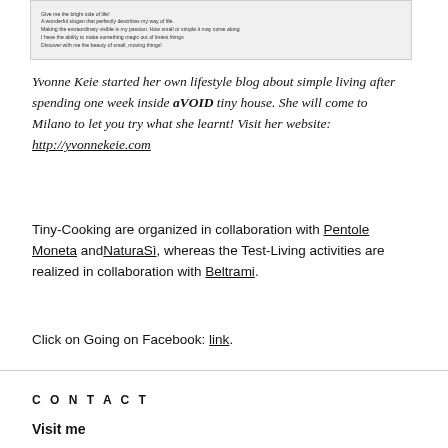[Figure (screenshot): Small text box image with italic lines: 'Give me the bright side of life! A wonderful slogan that perfectly describes my way of life. Making the extraordinary visible is my passion. How small or simple it may come along I have the ability to make something magic out of tiniest things Discover with me the beauty of small, moving things!']
Yvonne Keie started her own lifestyle blog about simple living after spending one week inside aVOID tiny house. She will come to Milano to let you try what she learnt! Visit her website: http://yvonnekeie.com
Tiny-Cooking are organized in collaboration with Pentole Moneta and NaturaSì, whereas the Test-Living activities are realized in collaboration with Beltrami.
Click on Going on Facebook: link.
CONTACT
Visit me